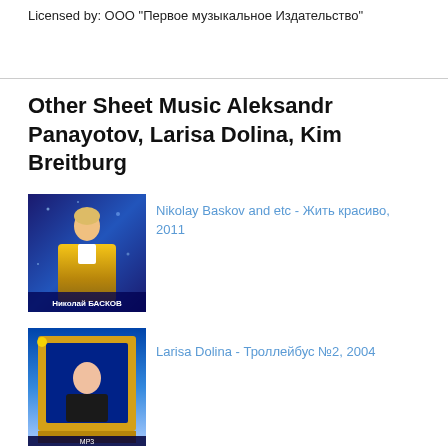Licensed by: ООО "Первое музыкальное Издательство"
Other Sheet Music Aleksandr Panayotov, Larisa Dolina, Kim Breitburg
[Figure (photo): Album cover for Nikolay Baskov - Жить красиво, 2011, showing a man in a gold jacket on a blue background with Cyrillic text Николай БАСКОВ at the bottom]
Nikolay Baskov and etc - Жить красиво, 2011
[Figure (photo): Album cover for Larisa Dolina - Троллейбус №2, 2004, showing a woman in a golden frame on a blue background with MP3 label]
Larisa Dolina - Троллейбус №2, 2004